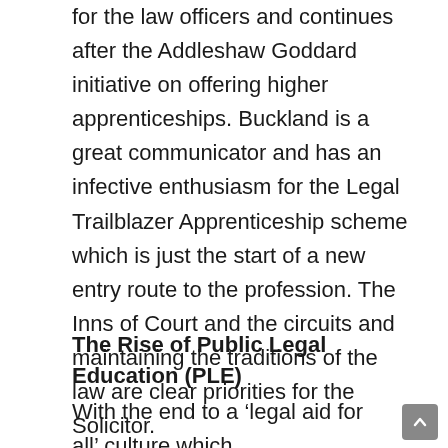for the law officers and continues after the Addleshaw Goddard initiative on offering higher apprenticeships. Buckland is a great communicator and has an infective enthusiasm for the Legal Trailblazer Apprenticeship scheme which is just the start of a new entry route to the profession. The Inns of Court and the circuits and maintaining the traditions of the law are clear priorities for the Solicitor.
The Rise of Public Legal Education (PLE)
With the end to a ‘legal aid for all’ culture which